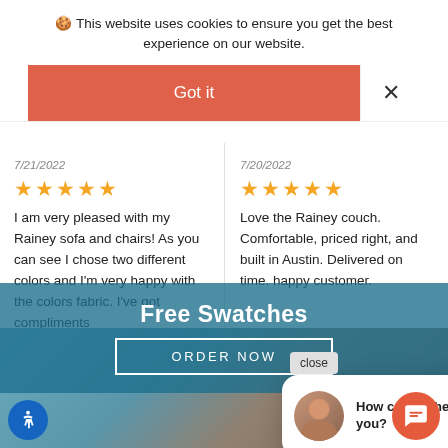🍪 This website uses cookies to ensure you get the best experience on our website.
Got it
×
7/21/2022
★★★★★
I am very pleased with my Rainey sofa and chairs! As you can see I chose two different colors and I'm very happy with the colors fabric. I've got compliments them. The delivery gu and I got n well within frame esti you! I'll be eed a cof
7/20/2022
★★★★★
Love the Rainey couch. Comfortable, priced right, and built in Austin. Delivered on time. happy customer.
close
How can we help you?
Free Swatches
ORDER NOW